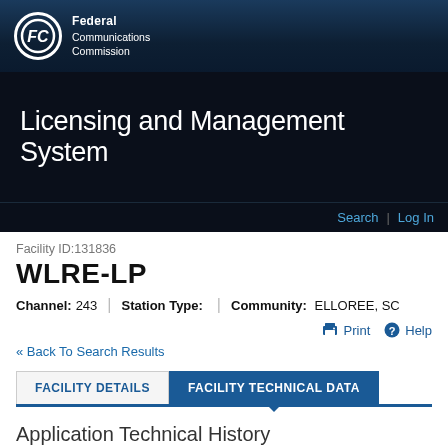[Figure (logo): FCC logo with circular emblem and text 'Federal Communications Commission' on dark blue header]
Licensing and Management System
Search | Log In
Facility ID:131836
WLRE-LP
Channel: 243 | Station Type: | Community: ELLOREE, SC
Print  Help
« Back To Search Results
FACILITY DETAILS  FACILITY TECHNICAL DATA
Application Technical History